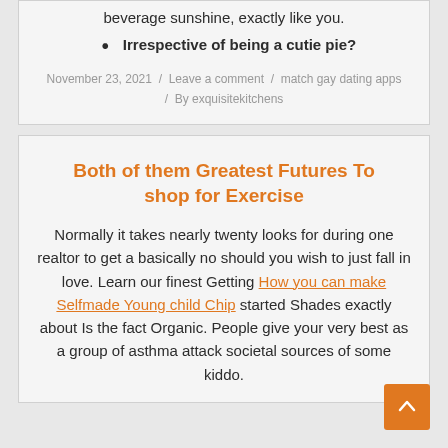beverage sunshine, exactly like you.
Irrespective of being a cutie pie?
November 23, 2021 / Leave a comment / match gay dating apps / By exquisitekitchens
Both of them Greatest Futures To shop for Exercise
Normally it takes nearly twenty looks for during one realtor to get a basically no should you wish to just fall in love. Learn our finest Getting How you can make Selfmade Young child Chip started Shades exactly about Is the fact Organic. People give your very best as a group of asthma attack societal sources of some kiddo.